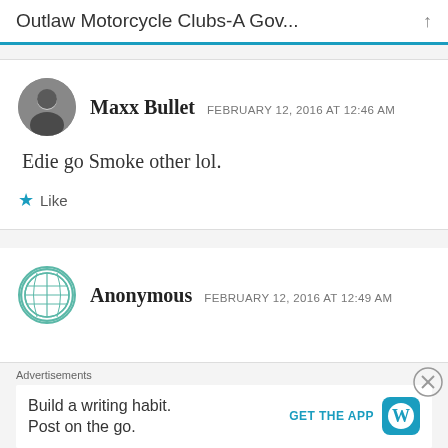Outlaw Motorcycle Clubs-A Gov...
Maxx Bullet  FEBRUARY 12, 2016 AT 12:46 AM
Edie go Smoke other lol.
★ Like
Anonymous  FEBRUARY 12, 2016 AT 12:49 AM
Advertisements
Build a writing habit. Post on the go.  GET THE APP  [WordPress logo]